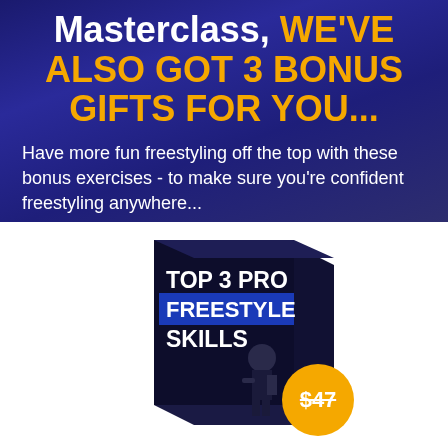Masterclass, WE'VE ALSO GOT 3 BONUS GIFTS FOR YOU...
Have more fun freestyling off the top with these bonus exercises - to make sure you're confident freestyling anywhere...
[Figure (illustration): 3D product box with dark navy cover showing 'TOP 3 PRO FREESTYLE SKILLS' text in white/blue bold font with a rapper performing on stage. An orange circle badge in the bottom right shows '$47' with a red strikethrough line.]